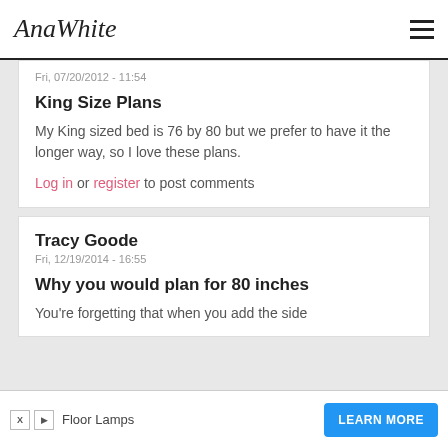AnaWhite
Fri, 07/20/2012 - 11:54
King Size Plans
My King sized bed is 76 by 80 but we prefer to have it the longer way, so I love these plans.
Log in or register to post comments
Tracy Goode
Fri, 12/19/2014 - 16:55
Why you would plan for 80 inches
You're forgetting that when you add the side
Floor Lamps
LEARN MORE